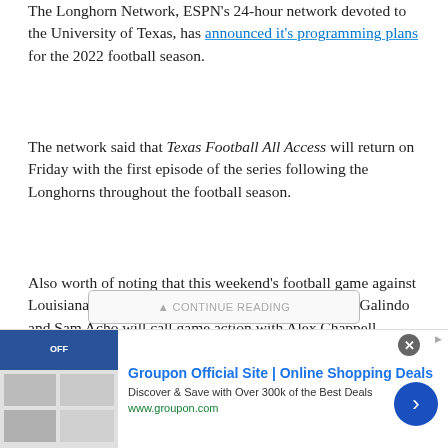The Longhorn Network, ESPN's 24-hour network devoted to the University of Texas, has announced it's programming plans for the 2022 football season.
The network said that Texas Football All Access will return on Friday with the first episode of the series following the Longhorns throughout the football season.
Also worth of noting that this weekend's football game against Louisiana-Monroe will be exclusive to LHN. Lowell Galindo and Sam Acho will call game action with Alex Chappell reporting from the sideline. LHN will also televise the Longhorns' Week 3 game against UTSA on Saturday, Sept. 17 at 7 p.m.
[Figure (screenshot): Advertisement banner for Groupon Official Site showing 'Discover & Save with Over 300k of the Best Deals' at www.groupon.com with a blue arrow button]